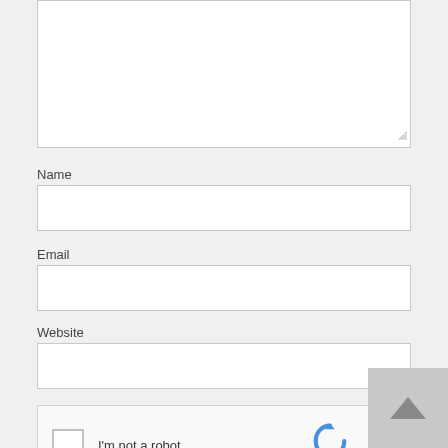[Figure (screenshot): Partially visible textarea input field at top of page]
Name
[Figure (screenshot): Name text input field]
Email
[Figure (screenshot): Email text input field]
Website
[Figure (screenshot): Website text input field]
[Figure (screenshot): reCAPTCHA widget with checkbox and 'I'm not a robot' label and reCAPTCHA logo]
[Figure (screenshot): Back to top button with upward arrow, grey square button in bottom right]